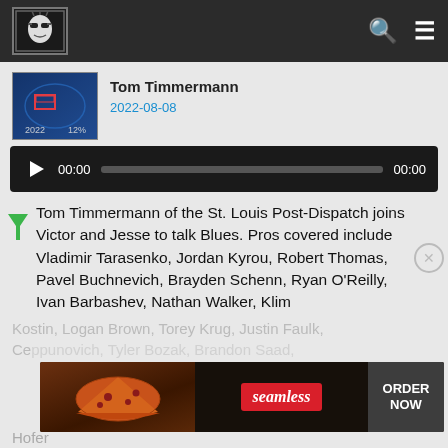[Figure (logo): Website logo with illustrated face wearing sunglasses in a decorative frame]
Tom Timmermann
2022-08-08
[Figure (screenshot): Audio player with play button, time 00:00, progress bar, and end time 00:00]
Tom Timmermann of the St. Louis Post-Dispatch joins Victor and Jesse to talk Blues. Pros covered include Vladimir Tarasenko, Jordan Kyrou, Robert Thomas, Pavel Buchnevich, Brayden Schenn, Ryan O'Reilly, Ivan Barbashev, Nathan Walker, Klim
Kostin, Logan Brown, Torey Krug, Justin Faulk, Colton Parayko, Tyler Bozak, Brandon Saad, Jake Neighbours, Jordan Kyrou, Scott Perunovich, Jake Walman, Hofer
[Figure (screenshot): Seamless food delivery advertisement with ORDER NOW button]